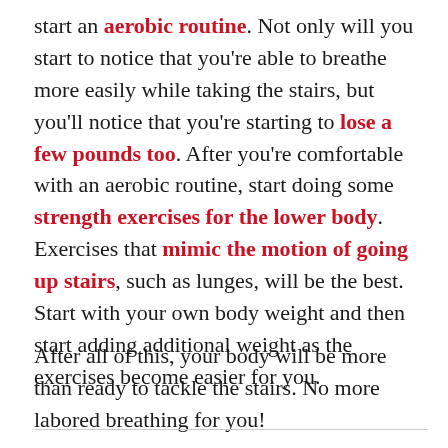start an aerobic routine. Not only will you start to notice that you're able to breathe more easily while taking the stairs, but you'll notice that you're starting to lose a few pounds too. After you're comfortable with an aerobic routine, start doing some strength exercises for the lower body. Exercises that mimic the motion of going up stairs, such as lunges, will be the best. Start with your own body weight and then start adding additional weight as the exercises become easier for you.
After all of this, your body will be more than ready to tackle the stairs. No more labored breathing for you!